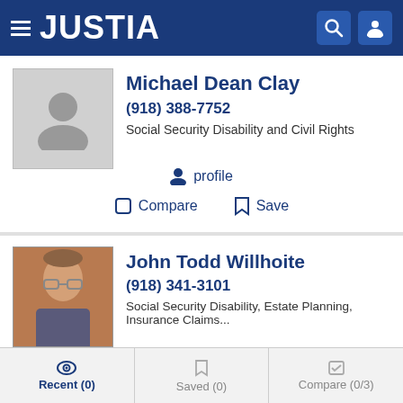JUSTIA
Michael Dean Clay
(918) 388-7752
Social Security Disability and Civil Rights
profile
Compare   Save
John Todd Willhoite
(918) 341-3101
Social Security Disability, Estate Planning, Insurance Claims...
website   profile   email
Recent (0)   Saved (0)   Compare (0/3)